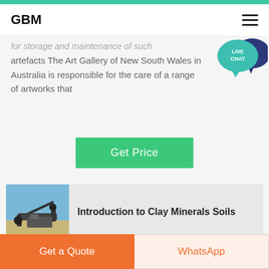GBM
for storage and maintenance of such artefacts The Art Gallery of New South Wales in Australia is responsible for the care of a range of artworks that
[Figure (other): Live Chat speech bubble icon with teal background and dark blue overlapping bubble, labeled LIVE CHAT]
Get Price
[Figure (photo): Outdoor photo of industrial mining/crushing equipment and conveyor belt in arid landscape under blue sky]
Introduction to Clay Minerals Soils
2001 2 5 Still kaolinite was used as the main ingredient for the original formulation of the diarrhea remedy Kaopectate Illite
Get a Quote | WhatsApp